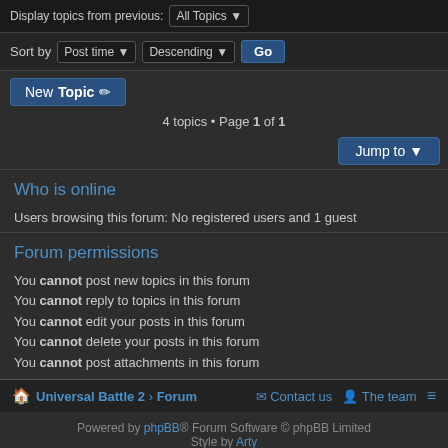Display topics from previous: All Topics
Sort by Post time Descending Go
New Topic
4 topics • Page 1 of 1
Jump to
Who is online
Users browsing this forum: No registered users and 1 guest
Forum permissions
You cannot post new topics in this forum
You cannot reply to topics in this forum
You cannot edit your posts in this forum
You cannot delete your posts in this forum
You cannot post attachments in this forum
Universal Battle 2 > Forum   Contact us   The team   ≡   Powered by phpBB® Forum Software © phpBB Limited Style by Arty